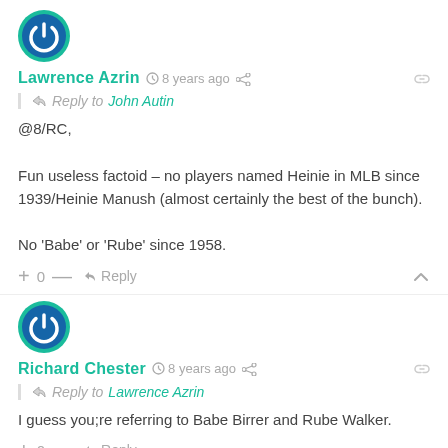[Figure (logo): User avatar icon with power symbol in teal circle]
Lawrence Azrin  8 years ago
Reply to John Autin
@8/RC,

Fun useless factoid – no players named Heinie in MLB since 1939/Heinie Manush (almost certainly the best of the bunch).

No 'Babe' or 'Rube' since 1958.
+ 0 —  Reply
[Figure (logo): User avatar icon with power symbol in teal circle]
Richard Chester  8 years ago
Reply to Lawrence Azrin
I guess you;re referring to Babe Birrer and Rube Walker.
+ 0 —  Reply
[Figure (logo): User avatar icon with power symbol in teal circle (partially visible)]